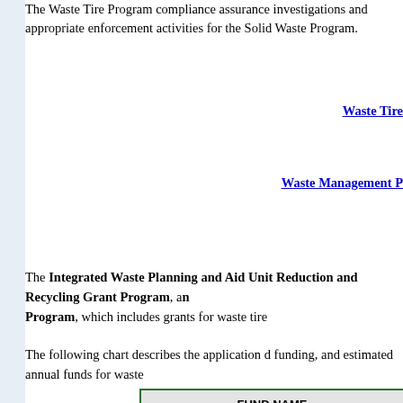The Waste Tire Program compliance assurance investigations and appropriate enforcement activities for the Solid Waste Program.
Waste Tire
Waste Management P
The Integrated Waste Planning and Aid Unit Reduction and Recycling Grant Program, and Program, which includes grants for waste tire
The following chart describes the application funding, and estimated annual funds for waste
| FUND NAME | ESTIMATED ANNUAL FUNDS | FUNDING SOURCES | ELIGIBLE APPLICANTS |
| --- | --- | --- | --- |